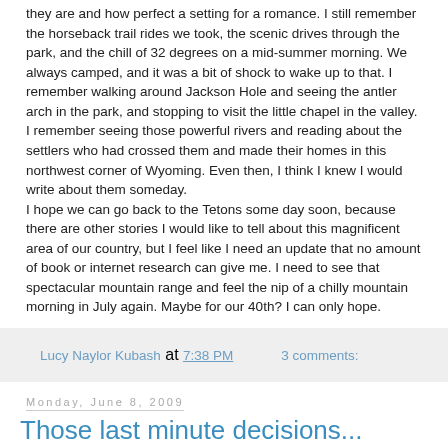they are and how perfect a setting for a romance. I still remember the horseback trail rides we took, the scenic drives through the park, and the chill of 32 degrees on a mid-summer morning. We always camped, and it was a bit of shock to wake up to that. I remember walking around Jackson Hole and seeing the antler arch in the park, and stopping to visit the little chapel in the valley. I remember seeing those powerful rivers and reading about the settlers who had crossed them and made their homes in this northwest corner of Wyoming. Even then, I think I knew I would write about them someday.
I hope we can go back to the Tetons some day soon, because there are other stories I would like to tell about this magnificent area of our country, but I feel like I need an update that no amount of book or internet research can give me. I need to see that spectacular mountain range and feel the nip of a chilly mountain morning in July again. Maybe for our 40th? I can only hope.
Lucy Naylor Kubash at 7:38 PM    3 comments:
Monday, June 8, 2009
Those last minute decisions...